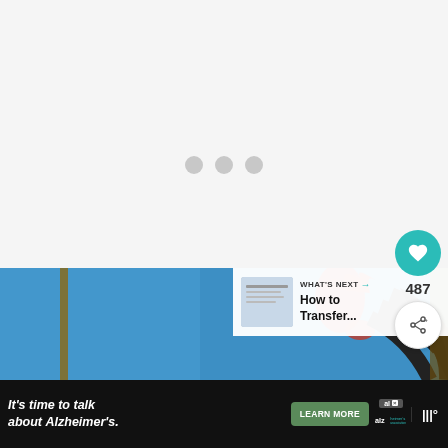[Figure (screenshot): Loading state with three gray dots centered on white/light gray background representing content loading spinner]
[Figure (other): Floating action buttons: teal heart/like button, count of 487, and share button on right side]
[Figure (photo): Partial photo of a rooster painting on blue background, showing red comb and black feathers/curves]
[Figure (screenshot): What's Next banner showing thumbnail and text: WHAT'S NEXT → How to Transfer...]
[Figure (screenshot): Advertisement bar at bottom: It's time to talk about Alzheimer's. LEARN MORE. Alzheimer's association logo. Close button.]